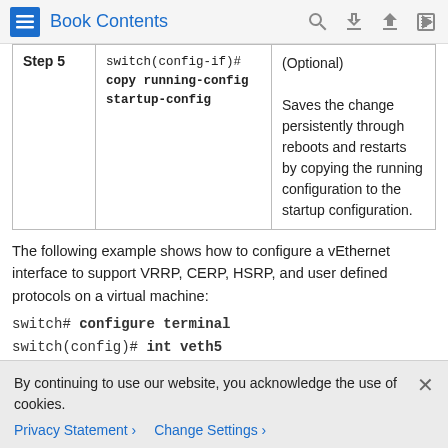Book Contents
| Step | Command | Description |
| --- | --- | --- |
| Step 5 | switch(config-if)# copy running-config startup-config | (Optional)
Saves the change persistently through reboots and restarts by copying the running configuration to the startup configuration. |
The following example shows how to configure a vEthernet interface to support VRRP, CERP, HSRP, and user defined protocols on a virtual machine:
switch# configure terminal
switch(config)# int veth5